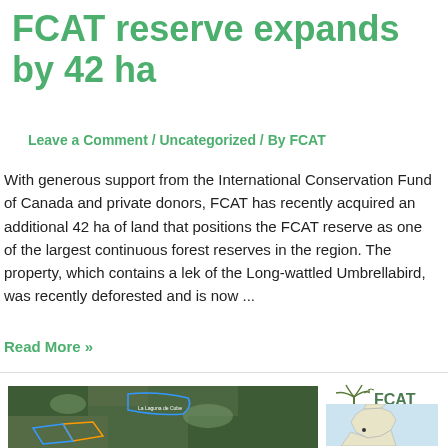FCAT reserve expands by 42 ha
Leave a Comment / Uncategorized / By FCAT
With generous support from the International Conservation Fund of Canada and private donors, FCAT has recently acquired an additional 42 ha of land that positions the FCAT reserve as one of the largest continuous forest reserves in the region. The property, which contains a lek of the Long-wattled Umbrellabird, was recently deforested and is now ...
Read More »
[Figure (map): Aerial/satellite map showing the FCAT reserve area with outlined parcels in blue and orange]
[Figure (logo): FCAT logo with palm tree and bird silhouettes]
[Figure (map): Small inset map showing location within Ecuador/South America]